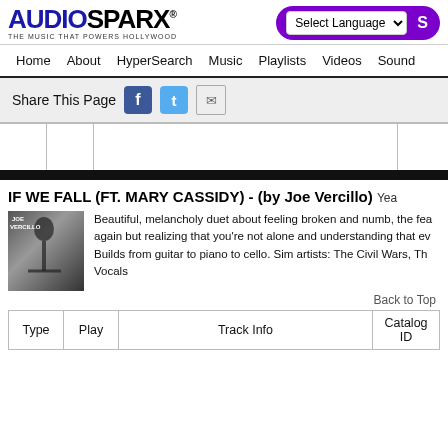AUDIOSPARX - THE MUSIC THAT POWERS HOLLYWOOD
[Figure (screenshot): AudioSparx logo with tagline 'THE MUSIC THAT POWERS HOLLYWOOD']
Home  About  HyperSearch  Music  Playlists  Videos  Sound
Share This Page
[Figure (screenshot): Player bar with type/play columns and track waveform area]
IF WE FALL (FT. MARY CASSIDY) - (by Joe Vercillo) Yea
[Figure (photo): Album art for Joe Vercillo]
Beautiful, melancholy duet about feeling broken and numb, the fea again but realizing that you're not alone and understanding that ev Builds from guitar to piano to cello. Sim artists: The Civil Wars, Th Vocals
Back to Top
| Type | Play | Track Info | Catalog ID |
| --- | --- | --- | --- |